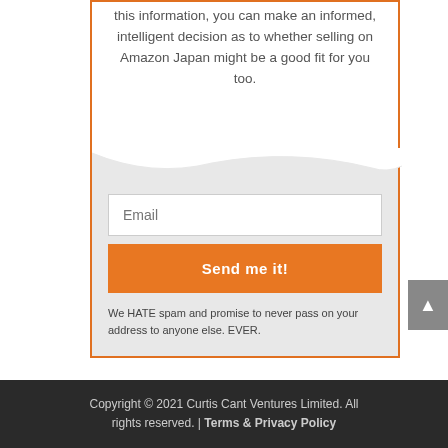this information, you can make an informed, intelligent decision as to whether selling on Amazon Japan might be a good fit for you too.
Email
Send me it!
We HATE spam and promise to never pass on your address to anyone else. EVER.
Copyright © 2021 Curtis Cant Ventures Limited. All rights reserved. | Terms & Privacy Policy